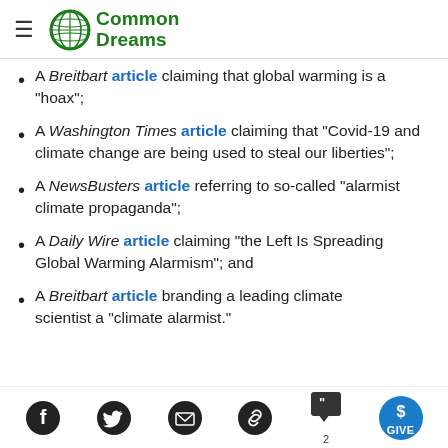Common Dreams
A Breitbart article claiming that global warming is a "hoax";
A Washington Times article claiming that "Covid-19 and climate change are being used to steal our liberties";
A NewsBusters article referring to so-called "alarmist climate propaganda";
A Daily Wire article claiming "the Left Is Spreading Global Warming Alarmism"; and
A Breitbart article branding a leading climate scientist a "climate alarmist."
Social share icons: Facebook, Twitter, Email, Link, Comments (2), Give